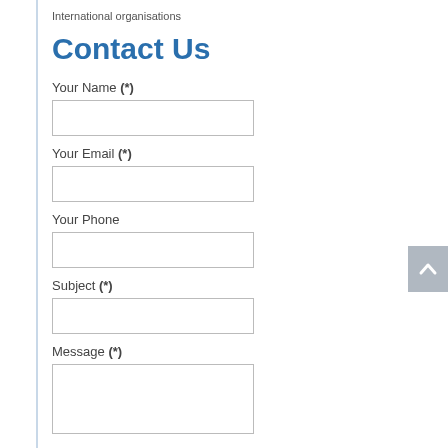International organisations
Contact Us
Your Name (*)
Your Email (*)
Your Phone
Subject (*)
Message (*)